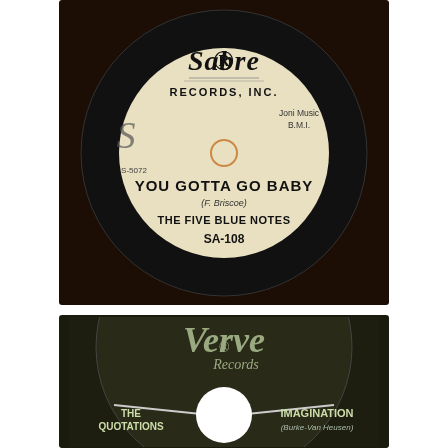[Figure (photo): Sabre Records, Inc. vinyl 45 RPM record label. Cream/ivory colored label with black text. Shows: Sabre Records Inc. logo at top, S-5072 catalog number on left, Joni Music B.M.I. on right, center hole, song title YOU GOTTA GO BABY, composer credit (F. Briscoe), artist THE FIVE BLUE NOTES, catalog number SA-108.]
[Figure (photo): Verve Records vinyl 45 RPM record label. Dark/black colored label with silver-green text. Shows: Verve Records logo at top, a starburst/arrow design pointing to center hole (white), artist name THE QUOTATIONS on lower left, song title IMAGINATION on lower right with credit (Burke-Van Heusen).]